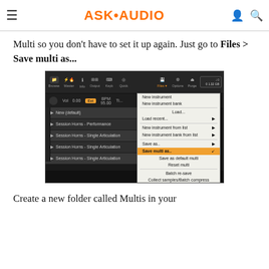ASK•AUDIO
Multi so you don't have to set it up again. Just go to Files > Save multi as...
[Figure (screenshot): Screenshot of Kontakt software showing the Files menu open with 'Save multi as...' option highlighted in orange. The menu shows items: New instrument, New instrument bank, Load..., Load recent..., New instrument from list, New instrument bank from list, Save as..., Save multi as... (highlighted), Save as default multi, Reset multi, Batch re-save, Collect samples/Batch compress, Help. The main panel shows instrument slots with 'New (default)', 'Session Horns - Performance', and three 'Session Horns - Single Articulation' entries.]
Create a new folder called Multis in your